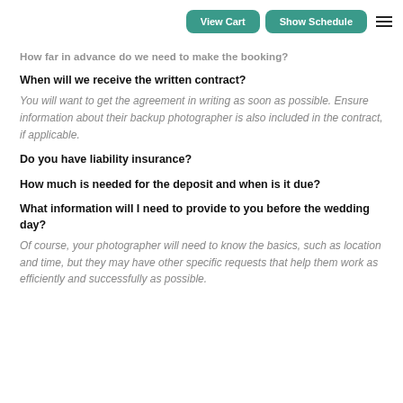View Cart | Show Schedule
How far in advance do we need to make the booking?
When will we receive the written contract?
You will want to get the agreement in writing as soon as possible. Ensure information about their backup photographer is also included in the contract, if applicable.
Do you have liability insurance?
How much is needed for the deposit and when is it due?
What information will I need to provide to you before the wedding day?
Of course, your photographer will need to know the basics, such as location and time, but they may have other specific requests that help them work as efficiently and successfully as possible.